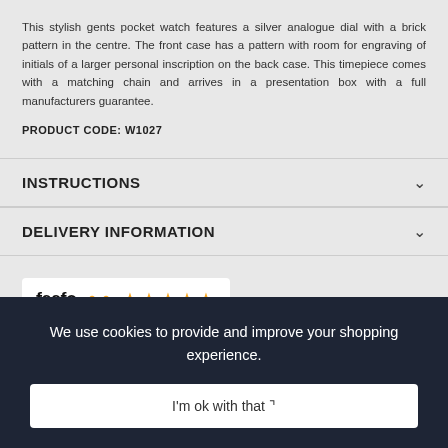This stylish gents pocket watch features a silver analogue dial with a brick pattern in the centre. The front case has a pattern with room for engraving of initials of a larger personal inscription on the back case. This timepiece comes with a matching chain and arrives in a presentation box with a full manufacturers guarantee.
PRODUCT CODE: W1027
INSTRUCTIONS
DELIVERY INFORMATION
[Figure (logo): Feefo logo with five gold stars and subtext showing Service Rating and number of reviews]
We use cookies to provide and improve your shopping experience.
I'm ok with that 🍪